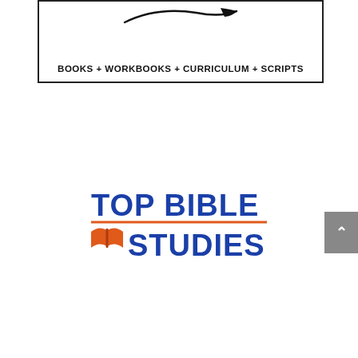[Figure (logo): Top portion of a logo inside a bordered box. A swoosh/curved line graphic above bold text reading BOOKS + WORKBOOKS + CURRICULUM + SCRIPTS]
BOOKS + WORKBOOKS + CURRICULUM + SCRIPTS
[Figure (logo): Top Bible Studies logo: 'TOP BIBLE' in large bold blue text, orange horizontal rule, orange open-book icon followed by 'STUDIES' in large bold blue text]